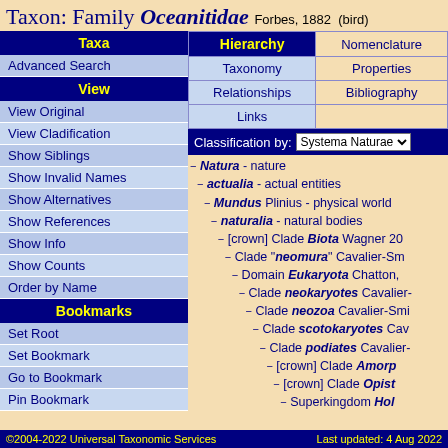Taxon: Family Oceanitidae Forbes, 1882 (bird)
| Taxa | Hierarchy | Nomenclature |
| --- | --- | --- |
| Advanced Search | Taxonomy | Properties |
| View | Relationships | Bibliography |
| View Original | Links |  |
| View Cladification |  |  |
| Show Siblings |  |  |
| Show Invalid Names |  |  |
| Show Alternatives |  |  |
| Show References |  |  |
| Show Info |  |  |
| Show Counts |  |  |
| Order by Name |  |  |
| Bookmarks |  |  |
| Set Root |  |  |
| Set Bookmark |  |  |
| Go to Bookmark |  |  |
| Pin Bookmark |  |  |
Classification by: Systema Naturae
− Natura - nature
− actualia - actual entities
− Mundus Plinius - physical world
− naturalia - natural bodies
− [crown] Clade Biota Wagner 200
− Clade "neomura" Cavalier-Sm
− Domain Eukaryota Chatton,
− Clade neokaryotes Cavalier-
− Clade neozoa Cavalier-Smi
− Clade scotokaryotes Cav
− Clade podiates Cavalier-
− [crown] Clade Amorph
− [crown] Clade Opist
− Superkingdom Hol
©2004-2022 Universal Taxonomic Services    Last updated: 4 Aug 2022